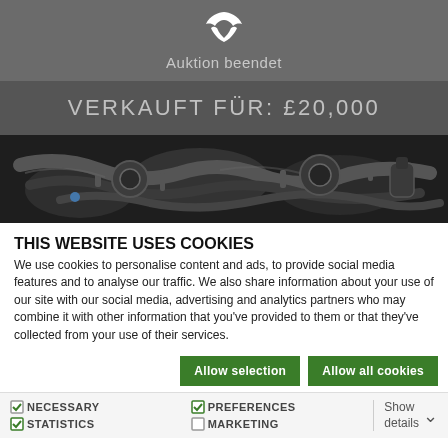[Figure (logo): W-shaped logo icon in white, helmet/shield style]
Auktion beendet
VERKAUFT FÜR: £20,000
[Figure (photo): Close-up photograph of a car engine showing turbos, pipes and mechanical components in dark tones]
THIS WEBSITE USES COOKIES
We use cookies to personalise content and ads, to provide social media features and to analyse our traffic. We also share information about your use of our site with our social media, advertising and analytics partners who may combine it with other information that you've provided to them or that they've collected from your use of their services.
Allow selection
Allow all cookies
NECESSARY  PREFERENCES  STATISTICS  MARKETING  Show details